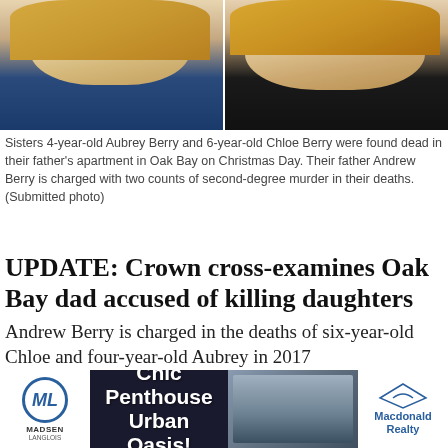[Figure (photo): Two photos side by side of young blonde girls. Left: 4-year-old Aubrey Berry in colorful top. Right: 6-year-old Chloe Berry in dark school uniform with white collar.]
Sisters 4-year-old Aubrey Berry and 6-year-old Chloe Berry were found dead in their father's apartment in Oak Bay on Christmas Day. Their father Andrew Berry is charged with two counts of second-degree murder in their deaths. (Submitted photo)
UPDATE: Crown cross-examines Oak Bay dad accused of killing daughters
Andrew Berry is charged in the deaths of six-year-old Chloe and four-year-old Aubrey in 2017
THE CANADIAN PRESS / Aug. 23, 2019 5:37 p.m. / LOCAL NEWS / NEWS
[Figure (other): Social media share icons: Facebook, Twitter, Reddit, Email, Print, Comment, Image, and scroll-to-top button]
[Figure (other): Advertisement banner for Madsen Langlois real estate featuring Chic Penthouse Urban Oasis and Macdonald Realty]